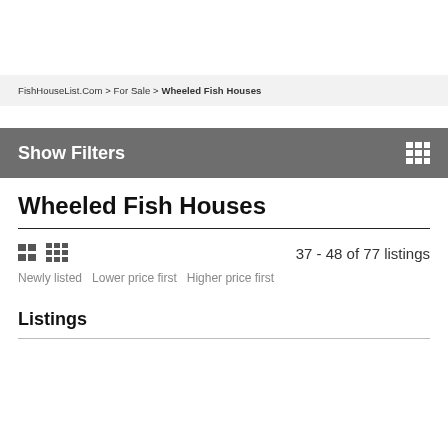FishHouseList.Com > For Sale > Wheeled Fish Houses
Show Filters
Wheeled Fish Houses
37 - 48 of 77 listings
Newly listed   Lower price first   Higher price first
Listings